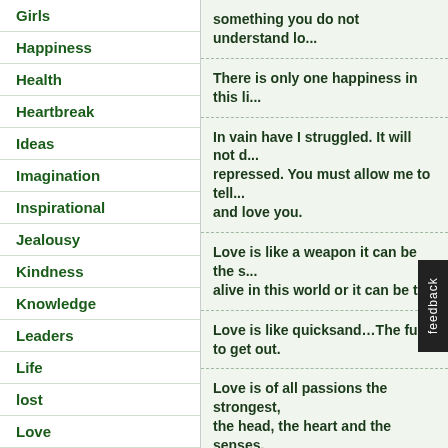Girls
Happiness
Health
Heartbreak
Ideas
Imagination
Inspirational
Jealousy
Kindness
Knowledge
Leaders
Life
lost
Love
Marriage
Men and Women
Mind
Mistake
something you do not understand lo...
There is only one happiness in this li...
In vain have I struggled. It will not do. My feelings will not be repressed. You must allow me to tell you how ardently I admire and love you.
Love is like a weapon it can be the strength to keep you alive in this world or it can be t...
Love is like quicksand…The fu... to get out.
Love is of all passions the strongest, for it attacks simultaneously the head, the heart and the senses.
Love isn't love until you give it away...